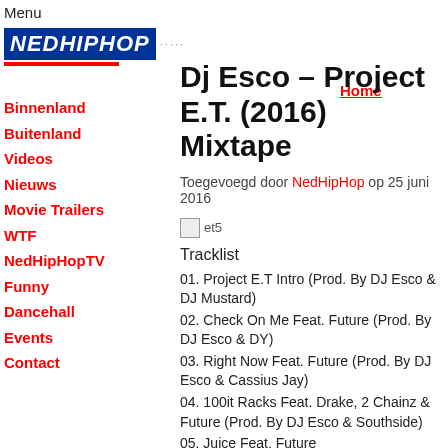Menu
[Figure (logo): NedHipHop logo with blue background, red underline, and decorative dots]
Home
Binnenland
Buitenland
Videos
Nieuws
Movie Trailers
WTF
NedHipHopTV
Funny
Dancehall
Events
Contact
Dj Esco – Project E.T. (2016) Mixtape
Toegevoegd door NedHipHop op 25 juni 2016
[Figure (photo): Broken image placeholder labeled et5]
Tracklist
01. Project E.T Intro (Prod. By DJ Esco & DJ Mustard)
02. Check On Me Feat. Future (Prod. By DJ Esco & DY)
03. Right Now Feat. Future (Prod. By DJ Esco & Cassius Jay)
04. 100it Racks Feat. Drake, 2 Chainz & Future (Prod. By DJ Esco & Southside)
05. Juice Feat. Future
06. My Blower Feat. Future & Juicy J (Prod. By DJ